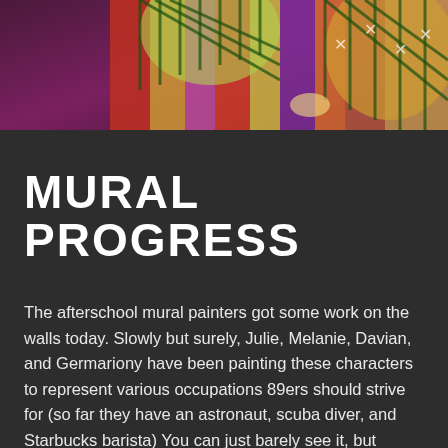[Figure (photo): Colorful mural artwork showing painted characters with vibrant mosaic-like patterns in reds, purples, oranges, and greens]
MURAL PROGRESS
The afterschool mural painters got some work on the walls today. Slowly but surely, Julie, Melanie, Davian, and Germariony have been painting these characters to represent various occupations 89ers should strive for (so far they have an astronaut, scuba diver, and Starbucks barista) You can just barely see it, but Kayon and Kadian got a quote up next to their Shirley Chisholm portrait: "Tremendous amounts of talent are lost to our society because that talent wears a skirt." C